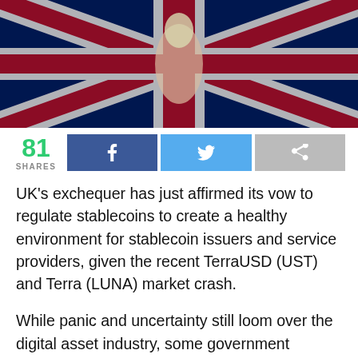[Figure (photo): Hero image showing a Union Jack flag background with a hand holding a light bulb and Big Ben tower]
81 SHARES [Facebook share button] [Twitter share button] [Share button]
UK's exchequer has just affirmed its vow to regulate stablecoins to create a healthy environment for stablecoin issuers and service providers, given the recent TerraUSD (UST) and Terra (LUNA) market crash.
While panic and uncertainty still loom over the digital asset industry, some government agencies have been quick to show their support for cryptocurrencies.
The UK's Treasury Department is one of these institutions. In a new report, a spokesman from Her Majesty's Treasury issued a statement saying: